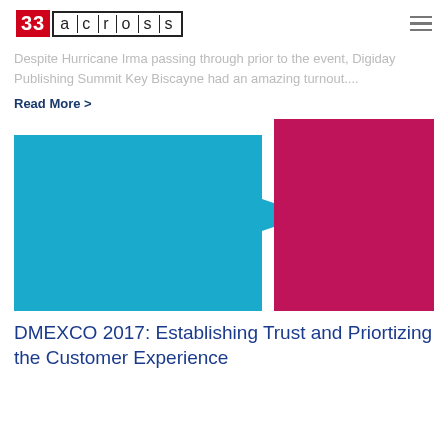[Figure (logo): 33Across logo with red '33' block and 'across' in bordered text]
Despite Hurricane Irma passing through prior to the event, Digiday Publishing Summit Key Biscayne had an amazing turnout....
Read More >
[Figure (illustration): Abstract graphic with teal left shape and crimson/magenta right rectangle with a chevron cutout connecting them]
DMEXCO 2017: Establishing Trust and Priortizing the Customer Experience